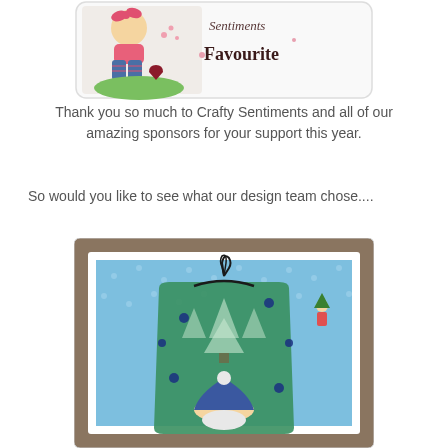[Figure (illustration): Crafty Sentiments Favourite badge - cartoon girl with flowers and a heart, with text 'Sentiments Favourite']
Thank you so much to Crafty Sentiments and all of our amazing sponsors for your support this year.
So would you like to see what our design team chose....
[Figure (photo): Handmade card featuring a gnome on a green gift bag with blue polka dot background, decorated with dark blue gems and black ribbon tie]